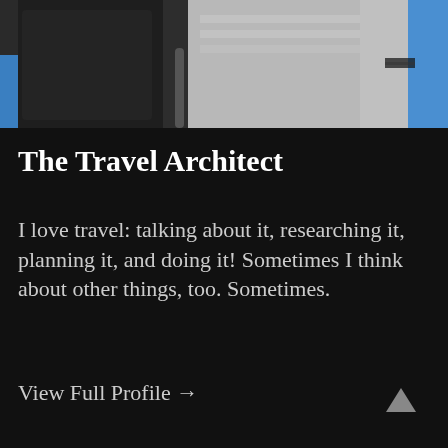[Figure (photo): A photo showing two people, one in dark clothing on the left and one in a light-colored shirt on the right, appearing to be on some form of transit or outdoor setting with a blue background element visible.]
The Travel Architect
I love travel: talking about it, researching it, planning it, and doing it! Sometimes I think about other things, too. Sometimes.
View Full Profile →